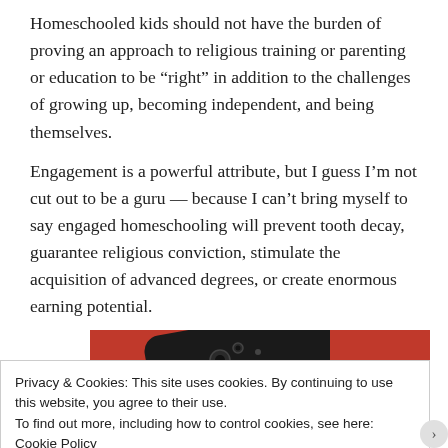Homeschooled kids should not have the burden of proving an approach to religious training or parenting or education to be “right” in addition to the challenges of growing up, becoming independent, and being themselves.
Engagement is a powerful attribute, but I guess I’m not cut out to be a guru — because I can’t bring myself to say engaged homeschooling will prevent tooth decay, guarantee religious conviction, stimulate the acquisition of advanced degrees, or create enormous earning potential.
[Figure (photo): Partial image of a smartphone with multiple cameras on a red background]
Privacy & Cookies: This site uses cookies. By continuing to use this website, you agree to their use.
To find out more, including how to control cookies, see here: Cookie Policy